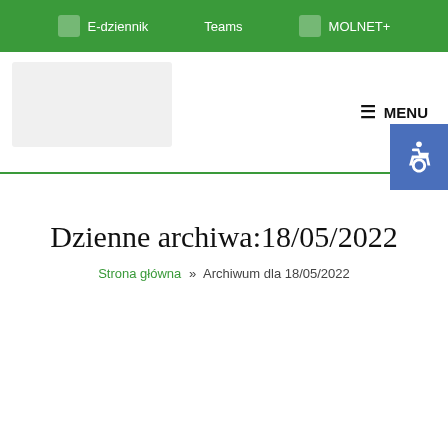E-dziennik   Teams   MOLNET+
[Figure (logo): School logo placeholder in header area]
☰ MENU
[Figure (infographic): Accessibility icon button (wheelchair symbol) in blue square]
Dzienne archiwa:18/05/2022
Strona główna » Archiwum dla 18/05/2022